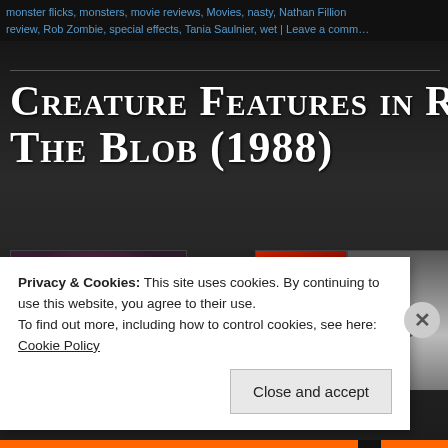monster flicks, monsters, movie reviews, Movies, nasty, Nathan Fillion review, Rob Zombie, special effects, Tania Saulnier, wet | Leave a comm…
Creature Features in Re… The Blob (1988)
[Figure (photo): Two thumbnail images: left shows a person covered in blob/slime material (scene from The Blob 1988), right shows movie poster artwork (red horror imagery) and partial text/logo of The Blob]
Privacy & Cookies: This site uses cookies. By continuing to use this website, you agree to their use.
To find out more, including how to control cookies, see here: Cookie Policy
Close and accept